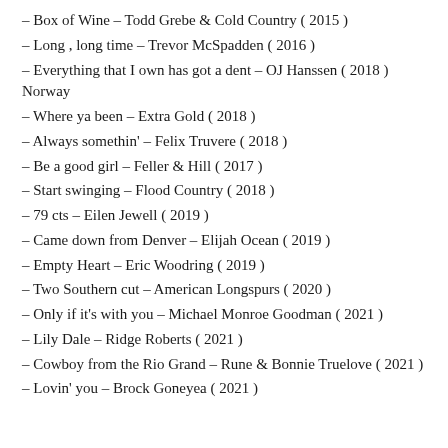– Box of Wine – Todd Grebe & Cold Country ( 2015 )
– Long , long time – Trevor McSpadden ( 2016 )
– Everything that I own has got a dent – OJ Hanssen ( 2018 ) Norway
– Where ya been – Extra Gold ( 2018 )
– Always somethin' – Felix Truvere ( 2018 )
– Be a good girl – Feller & Hill ( 2017 )
– Start swinging – Flood Country ( 2018 )
– 79 cts – Eilen Jewell ( 2019 )
– Came down from Denver – Elijah Ocean ( 2019 )
– Empty Heart – Eric Woodring ( 2019 )
– Two Southern cut – American Longspurs ( 2020 )
– Only if it's with you – Michael Monroe Goodman ( 2021 )
– Lily Dale – Ridge Roberts ( 2021 )
– Cowboy from the Rio Grand – Rune & Bonnie Truelove ( 2021 )
– Lovin' you – Brock Goneyea ( 2021 )